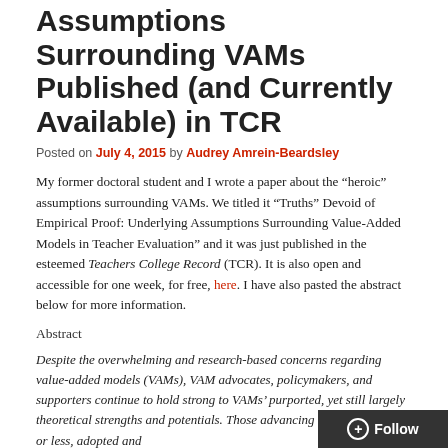Assumptions Surrounding VAMs Published (and Currently Available) in TCR
Posted on July 4, 2015 by Audrey Amrein-Beardsley
My former doctoral student and I wrote a paper about the “heroic” assumptions surrounding VAMs. We titled it “Truths” Devoid of Empirical Proof: Underlying Assumptions Surrounding Value-Added Models in Teacher Evaluation” and it was just published in the esteemed Teachers College Record (TCR). It is also open and accessible for one week, for free, here. I have also pasted the abstract below for more information.
Abstract
Despite the overwhelming and research-based concerns regarding value-added models (VAMs), VAM advocates, policymakers, and supporters continue to hold strong to VAMs’ purported, yet still largely theoretical strengths and potentials. Those advancing VAMs have, more or less, adopted and